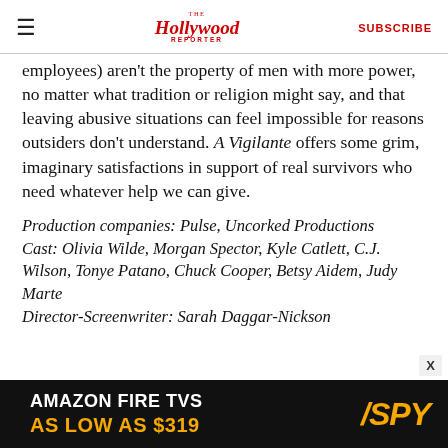The Hollywood Reporter | SUBSCRIBE
employees) aren't the property of men with more power, no matter what tradition or religion might say, and that leaving abusive situations can feel impossible for reasons outsiders don't understand. A Vigilante offers some grim, imaginary satisfactions in support of real survivors who need whatever help we can give.
Production companies: Pulse, Uncorked Productions
Cast: Olivia Wilde, Morgan Spector, Kyle Catlett, C.J. Wilson, Tonye Patano, Chuck Cooper, Betsy Aidem, Judy Marte
Director-Screenwriter: Sarah Daggar-Nickson
[Figure (other): Amazon Fire TVs advertisement banner — black background with text 'AMAZON FIRE TVS AS LOW AS $319' and SPY logo in yellow/orange]